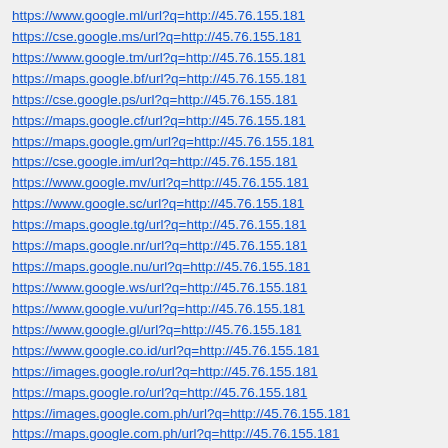https://www.google.ml/url?q=http://45.76.155.181
https://cse.google.ms/url?q=http://45.76.155.181
https://www.google.tm/url?q=http://45.76.155.181
https://maps.google.bf/url?q=http://45.76.155.181
https://cse.google.ps/url?q=http://45.76.155.181
https://maps.google.cf/url?q=http://45.76.155.181
https://maps.google.gm/url?q=http://45.76.155.181
https://cse.google.im/url?q=http://45.76.155.181
https://www.google.mv/url?q=http://45.76.155.181
https://www.google.sc/url?q=http://45.76.155.181
https://maps.google.tg/url?q=http://45.76.155.181
https://maps.google.nr/url?q=http://45.76.155.181
https://maps.google.nu/url?q=http://45.76.155.181
https://www.google.ws/url?q=http://45.76.155.181
https://www.google.vu/url?q=http://45.76.155.181
https://www.google.gl/url?q=http://45.76.155.181
https://www.google.co.id/url?q=http://45.76.155.181
https://images.google.ro/url?q=http://45.76.155.181
https://maps.google.ro/url?q=http://45.76.155.181
https://images.google.com.ph/url?q=http://45.76.155.181
https://maps.google.com.ph/url?q=http://45.76.155.181